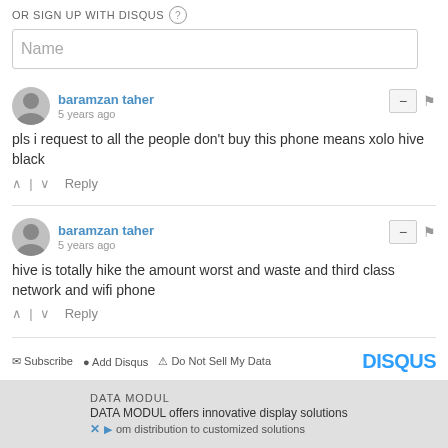OR SIGN UP WITH DISQUS ?
Name
baramzan taher
5 years ago
pls i request to all the people don't buy this phone means xolo hive black
^ | v Reply
baramzan taher
5 years ago
hive is totally hike the amount worst and waste and third class network and wifi phone
^ | v Reply
Subscribe  Add Disqus  Do Not Sell My Data  DISQUS
comments powered by Disqus
DATA MODUL
DATA MODUL offers innovative display solutions
om distribution to customized solutions